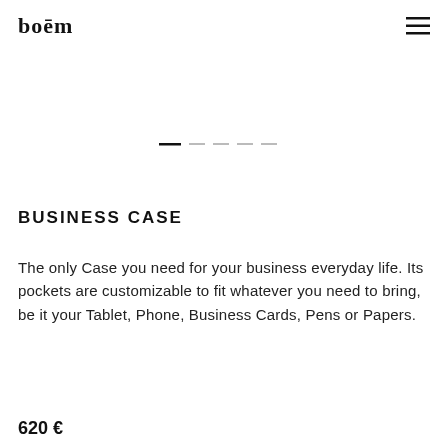boēm
[Figure (other): Navigation slider indicator dots: one active dark dash followed by four lighter dashes]
BUSINESS CASE
The only Case you need for your business everyday life. Its pockets are customizable to fit whatever you need to bring, be it your Tablet, Phone, Business Cards, Pens or Papers.
620 €